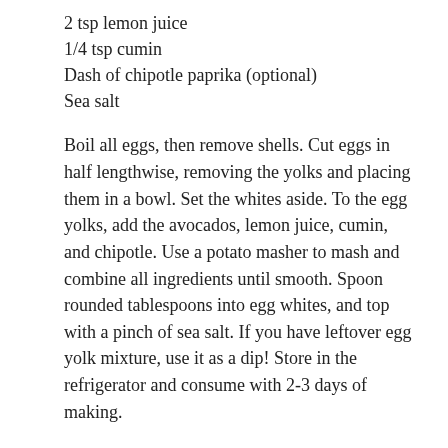2 tsp lemon juice
1/4 tsp cumin
Dash of chipotle paprika (optional)
Sea salt
Boil all eggs, then remove shells. Cut eggs in half lengthwise, removing the yolks and placing them in a bowl. Set the whites aside. To the egg yolks, add the avocados, lemon juice, cumin, and chipotle. Use a potato masher to mash and combine all ingredients until smooth. Spoon rounded tablespoons into egg whites, and top with a pinch of sea salt. If you have leftover egg yolk mixture, use it as a dip! Store in the refrigerator and consume with 2-3 days of making.
Dehydrated Veggie Chips
Wait, wait – dehydrators aren't alien devices (and they're actually not that expensive, as seen online). In fact, the hardest part here is cutting up the veggies (which you can also buy pre-sliced, even using the frozen variety) as the rest of the work is done while you're off